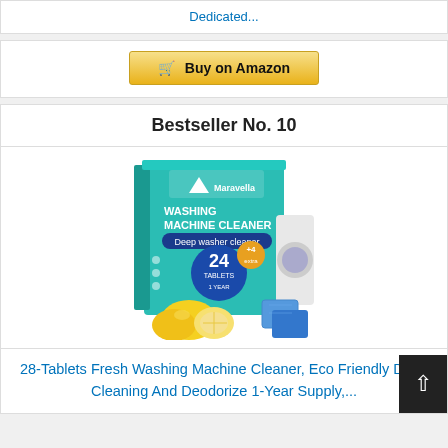Dedicated...
Buy on Amazon
Bestseller No. 10
[Figure (photo): Maravella Washing Machine Cleaner product box showing 24+4 tablets, 1 year supply, deep washer cleaner, with lemons and blue cleaning tablets displayed]
28-Tablets Fresh Washing Machine Cleaner, Eco Friendly Deep Cleaning And Deodorize 1-Year Supply,...